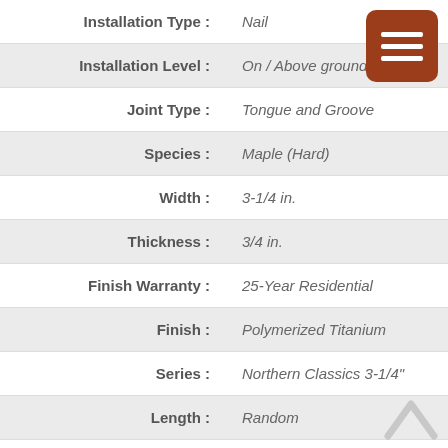| Attribute | Value |
| --- | --- |
| Installation Type : | Nail |
| Installation Level : | On / Above ground level |
| Joint Type : | Tongue and Groove |
| Species : | Maple (Hard) |
| Width : | 3-1/4 in. |
| Thickness : | 3/4 in. |
| Finish Warranty : | 25-Year Residential |
| Finish : | Polymerized Titanium |
| Series : | Northern Classics 3-1/4" |
| Length : | Random |
| Color : | Rum |